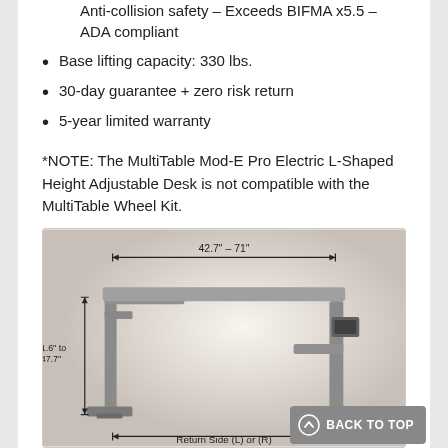Anti-collision safety – Exceeds BIFMA x5.5 – ADA compliant
Base lifting capacity: 330 lbs.
30-day guarantee + zero risk return
5-year limited warranty
*NOTE: The MultiTable Mod-E Pro Electric L-Shaped Height Adjustable Desk is not compatible with the MultiTable Wheel Kit.
[Figure (engineering-diagram): Engineering diagram of a height-adjustable desk frame showing dimensions: width 42.7" – 71", height 21.6" to 47.7", with label 'Return Side (L) or (R)' along the bottom.]